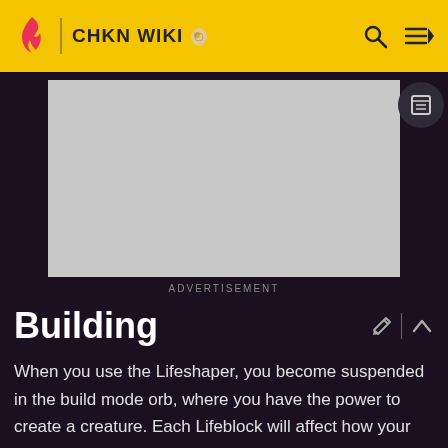CHKN WIKI
[Figure (screenshot): Advertisement placeholder — large grey rectangle with ADVERTISEMENT label below]
Building
When you use the Lifeshaper, you become suspended in the build mode orb, where you have the power to create a creature. Each Lifeblock will affect how your creature behaves – many legs will make it quicker, longer necks will have combat advantage and so on.